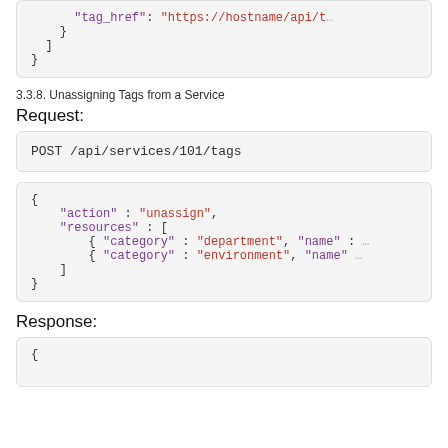"tag_href": "https://hostname/api/t...
    }
  ]
}
3.3.8. Unassigning Tags from a Service
Request:
POST /api/services/101/tags
{
  "action" : "unassign",
  "resources" : [
    { "category" : "department", "name" : ...
    { "category" : "environment", "name" ...
  ]
}
Response:
{